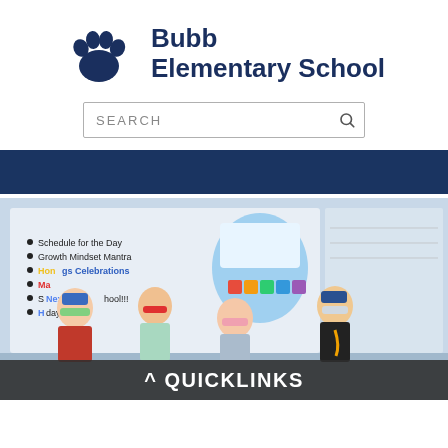[Figure (logo): Bubb Elementary School paw print logo in dark navy blue]
Bubb Elementary School
[Figure (screenshot): Search bar with placeholder text SEARCH and magnifying glass icon]
[Figure (photo): Dark navy blue navigation bar]
[Figure (photo): Classroom photo with four children wearing masks standing in front of a whiteboard with a colorful presentation. A bulletin board list shows: Schedule for the Day, Growth Mindset Mantra, Honors Celebrations, and other items.]
^ QUICKLINKS